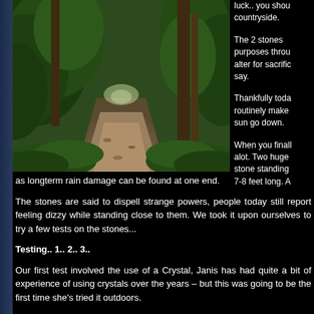[Figure (photo): A narrow dirt path through dense green woodland with trees and ivy-covered banks on either side]
luck.. you shou countryside.
The 2 stones purposes throu alter for sacrific say.
Thankfully toda routinely make sun go down.
When you finall alot. Two huge stone standing 7-8 feet long. A
as longterm rain damage can be found at one end.
The stones are said to dispell strange powers, people today still report feeling dizzy while standing close to them. We took it upon ourselves to try a few tests on the stones...
Testing.. 1.. 2.. 3..
Our first test involved the use of a Crystal, Janis has had quite a bit of experience of using crystals over the years – but this was going to be the first time she's tried it outdoors.
The crystal is supported by a silver chain, the chain is then left to dangle down over the stone. Depending on the forces involved – used correctly the crystal could start to swing..